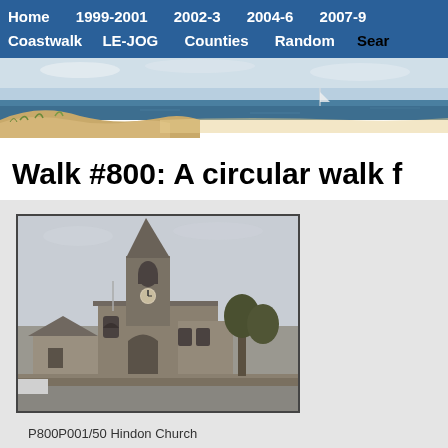Home  1999-2001  2002-3  2004-6  2007-9
Coastwalk  LE-JOG  Counties  Random  Sear
[Figure (photo): Panoramic beach/coastal photo with sandy dunes, blue sea, and sky as website header banner]
Walk #800: A circular walk f
[Figure (photo): Photo of a stone church with a tall Gothic spire/tower, taken from street level on an overcast day]
P800P001/50 Hindon Church